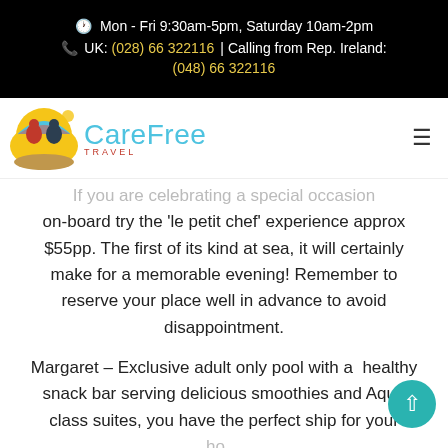Mon - Fri 9:30am-5pm, Saturday 10am-2pm
UK: (028) 66 322116 | Calling from Rep. Ireland: (048) 66 322116
[Figure (logo): CareFree Travel logo with two figures under an umbrella on a yellow circle, with stylized blue 'CareFree' text and red 'TRAVEL' subtext]
If you are celebrating a special occasion on-board try the 'le petit chef' experience approx $55pp. The first of its kind at sea, it will certainly make for a memorable evening! Remember to reserve your place well in advance to avoid disappointment.
Margaret – Exclusive adult only pool with a healthy snack bar serving delicious smoothies and Aqua class suites, you have the perfect ship for your